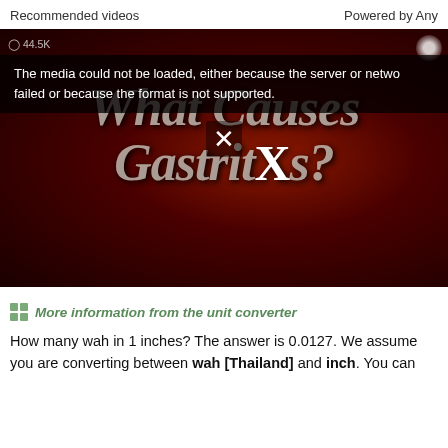Recommended videos | Powered by Any
[Figure (screenshot): Video thumbnail showing 'What Causes Gastritis?' with cartoon characters and medical illustrations. An error overlay reads: 'The media could not be loaded, either because the server or network failed or because the format is not supported.' A close X button is visible. A small stats overlay shows '44.5K'.]
More information from the unit converter
How many wah in 1 inches? The answer is 0.0127. We assume you are converting between wah [Thailand] and inch. You can